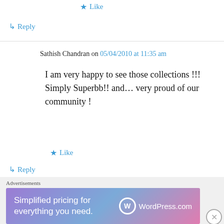★ Like
↳ Reply
Sathish Chandran on 05/04/2010 at 11:35 am
I am very happy to see those collections !!! Simply Superbb!! and… very proud of our community !
★ Like
↳ Reply
Visu (Bandhumi) on 22/03/2010 at 8:46 pm
Advertisements
[Figure (infographic): WordPress.com advertisement banner: 'Simplified pricing for everything you need.' with WordPress.com logo]